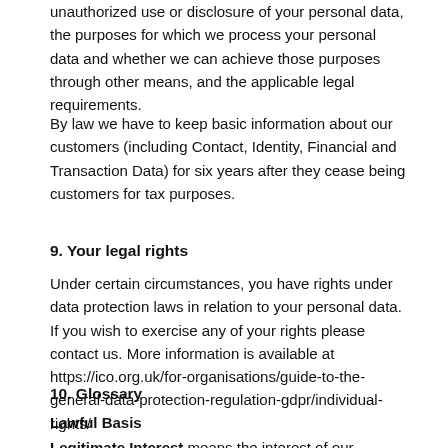unauthorized use or disclosure of your personal data, the purposes for which we process your personal data and whether we can achieve those purposes through other means, and the applicable legal requirements.
By law we have to keep basic information about our customers (including Contact, Identity, Financial and Transaction Data) for six years after they cease being customers for tax purposes.
9. Your legal rights
Under certain circumstances, you have rights under data protection laws in relation to your personal data. If you wish to exercise any of your rights please contact us. More information is available at https://ico.org.uk/for-organisations/guide-to-the-general-data-protection-regulation-gdpr/individual-rights/
10. Glossary
Lawful Basis
Legitimate Interest means the interest of our business in conducting and managing our business to enable us to give you the best service/product and the best and most